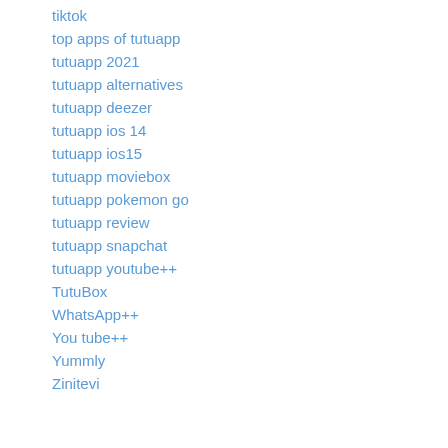tiktok
top apps of tutuapp
tutuapp 2021
tutuapp alternatives
tutuapp deezer
tutuapp ios 14
tutuapp ios15
tutuapp moviebox
tutuapp pokemon go
tutuapp review
tutuapp snapchat
tutuapp youtube++
TutuBox
WhatsApp++
You tube++
Yummly
Zinitevi